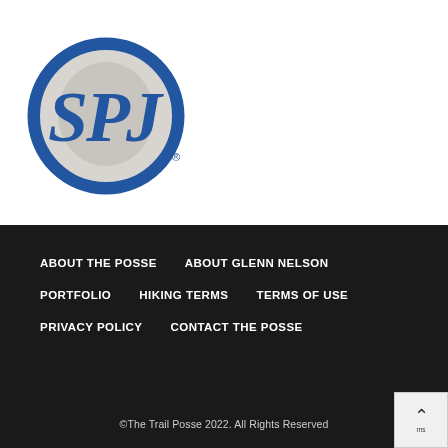[Figure (logo): SPJ (Society of Professional Journalists) circular logo with blue border and gray background, featuring stylized SPJ letters]
ABOUT THE POSSE
ABOUT GLENN NELSON
PORTFOLIO
HIKING TERMS
TERMS OF USE
PRIVACY POLICY
CONTACT THE POSSE
©The Trail Posse 2022. All Rights Reserved